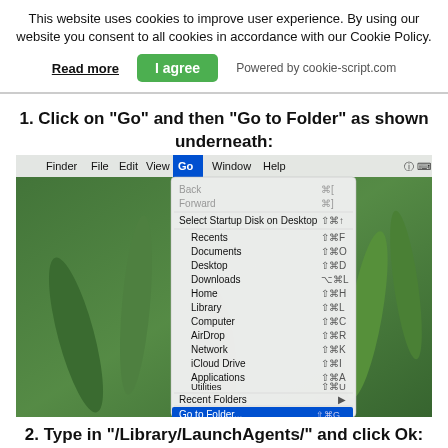This website uses cookies to improve user experience. By using our website you consent to all cookies in accordance with our Cookie Policy.
Read more   I agree   Powered by cookie-script.com
1. Click on "Go" and then "Go to Folder" as shown underneath:
[Figure (screenshot): macOS Finder menu bar with 'Go' menu open, showing options including Back, Forward, Select Startup Disk on Desktop, Recents, Documents, Desktop, Downloads, Home, Library, Computer, AirDrop, Network, iCloud Drive, Applications, Utilities, Recent Folders, Go to Folder... (highlighted in blue), and Connect to Server...]
2. Type in "/Library/LaunchAgents/" and click Ok: